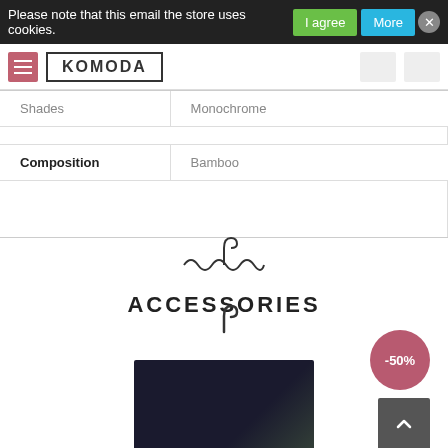Please note that this email the store uses cookies.
|  |  |
| --- | --- |
| Shades | Monochrome |
| Composition | Bamboo |
[Figure (illustration): Decorative hanger/wave icon]
ACCESSORIES
[Figure (photo): Product photo on hanger showing a person wearing accessories, dark background]
-50%
[Figure (illustration): Scroll to top arrow button]